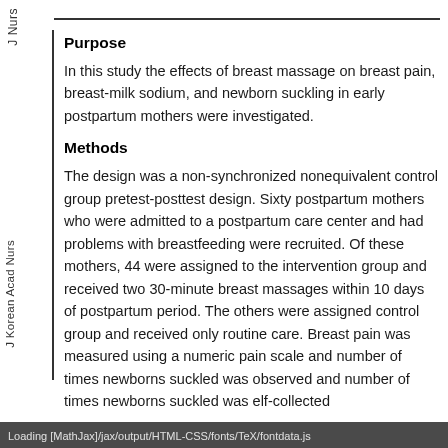Nurs
Purpose
In this study the effects of breast massage on breast pain, breast-milk sodium, and newborn suckling in early postpartum mothers were investigated.
Methods
The design was a non-synchronized nonequivalent control group pretest-posttest design. Sixty postpartum mothers who were admitted to a postpartum care center and had problems with breastfeeding were recruited. Of these mothers, 44 were assigned to the intervention group and received two 30-minute breast massages within 10 days of postpartum period. The others were assigned control group and received only routine care. Breast pain was measured using a numeric pain scale and number of times newborns suckled was observed and number of times newborns suckled was self-collected
Loading [MathJax]/jax/output/HTML-CSS/fonts/TeX/fontdata.js